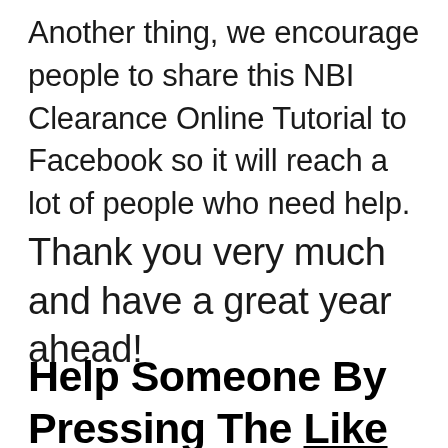Another thing, we encourage people to share this NBI Clearance Online Tutorial to Facebook so it will reach a lot of people who need help.
Thank you very much and have a great year ahead!
Help Someone By Pressing The Like And